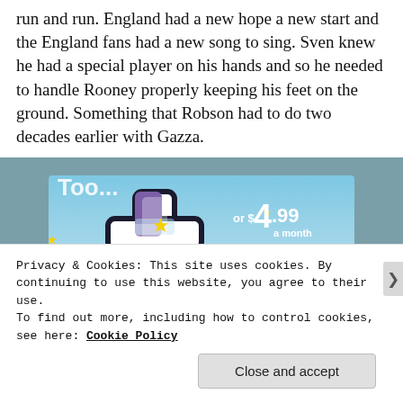run and run. England had a new hope a new start and the England fans had a new song to sing. Sven knew he had a special player on his hands and so he needed to handle Rooney properly keeping his feet on the ground. Something that Robson had to do two decades earlier with Gazza.
[Figure (advertisement): Tumblr advertisement banner with blue sky background, Tumblr 't' logo in pink/purple/white, yellow sparkle stars, text 'Too...' at top, 'or $4.99 a month + FREE SHIPPING' on right side]
Privacy & Cookies: This site uses cookies. By continuing to use this website, you agree to their use.
To find out more, including how to control cookies, see here: Cookie Policy
Close and accept